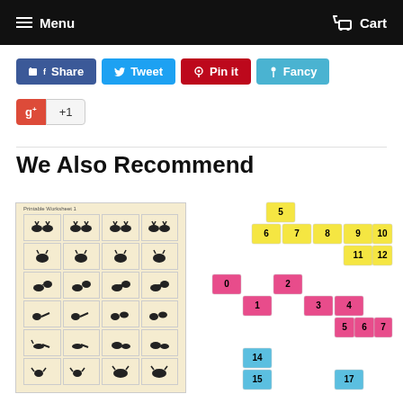Menu   Cart
Share
Tweet
Pin it
Fancy
+1
We Also Recommend
[Figure (illustration): Puzzle worksheet with animal silhouette cards arranged in a 4x6 grid on beige background]
[Figure (illustration): Theater/venue seating chart with yellow, pink, and blue numbered seat blocks arranged in a staircase pattern. Yellow seats numbered 5-12, pink seats numbered 0-7, blue seats numbered 14-17]